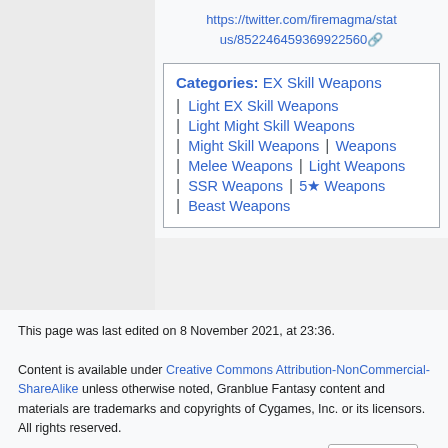https://twitter.com/firemagma/status/852246459369922560
| Categories:  EX Skill Weapons |
| Light EX Skill Weapons |
| Light Might Skill Weapons |
| Might Skill Weapons | Weapons |
| Melee Weapons | Light Weapons |
| SSR Weapons | 5★ Weapons |
| Beast Weapons |
This page was last edited on 8 November 2021, at 23:36.
Content is available under Creative Commons Attribution-NonCommercial-ShareAlike unless otherwise noted, Granblue Fantasy content and materials are trademarks and copyrights of Cygames, Inc. or its licensors. All rights reserved.
[Figure (logo): Creative Commons BY-NC-SA license badge]